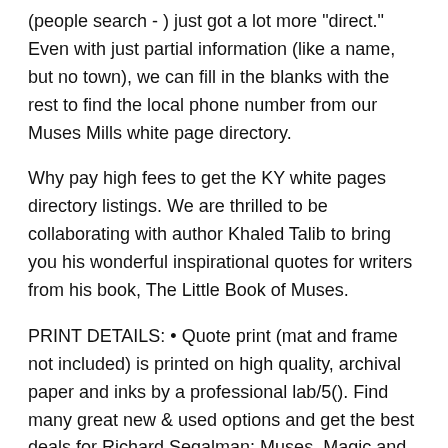(people search - ) just got a lot more "direct." Even with just partial information (like a name, but no town), we can fill in the blanks with the rest to find the local phone number from our Muses Mills white page directory.
Why pay high fees to get the KY white pages directory listings. We are thrilled to be collaborating with author Khaled Talib to bring you his wonderful inspirational quotes for writers from his book, The Little Book of Muses.
PRINT DETAILS: • Quote print (mat and frame not included) is printed on high quality, archival paper and inks by a professional lab/50. Find many great new & used options and get the best deals for Richard Segalman: Muses, Magic and Monotypes: Black and White by Susan Forrest Castle (, Hardcover) at the best online prices at eBay.
Free shipping for many products. In the section devoted to Wendy Torrance, the fictional wife from The Shining who was bludgeoned by her husband, the speaker muses on the inadequacy of language to resolve or even contain grief in the wake of trauma: "A book is a coffin.